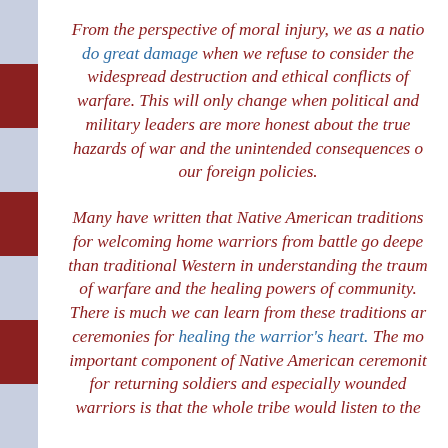From the perspective of moral injury, we as a nation do great damage when we refuse to consider the widespread destruction and ethical conflicts of warfare. This will only change when political and military leaders are more honest about the true hazards of war and the unintended consequences of our foreign policies.
Many have written that Native American traditions for welcoming home warriors from battle go deeper than traditional Western in understanding the trauma of warfare and the healing powers of community. There is much we can learn from these traditions and ceremonies for healing the warrior's heart. The most important component of Native American ceremonies for returning soldiers and especially wounded warriors is that the whole tribe would listen to the